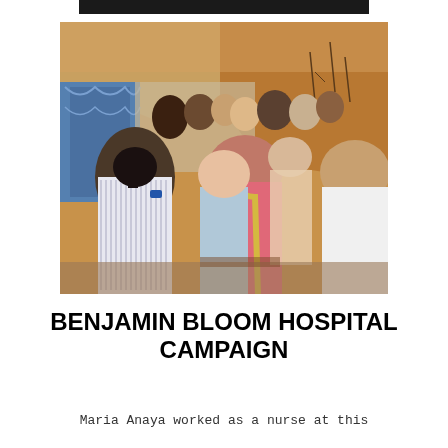[Figure (photo): Outdoor gathering of people seen from behind, standing in a dirt area with a rocky hillside in the background. Some people are seated, others standing. A blue decorative draped wall is visible on the left. A woman in a pink shirt and yellow bag is prominent in the foreground center.]
BENJAMIN BLOOM HOSPITAL CAMPAIGN
Maria Anaya worked as a nurse at this